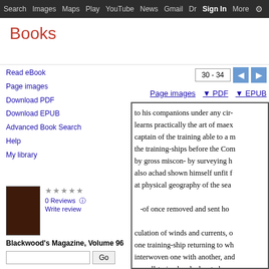Search  Images  Maps  Play  YouTube  News  Gmail  Dr  Sign In  More  ⚙
Books
Read eBook
Page images
Download PDF
Download EPUB
Advanced Book Search
Help
My library
0 Reviews
Write review
Blackwood's Magazine, Volume 96
[Figure (screenshot): Google Books page preview showing partial text of a book page with navigation controls (page 30-34), Page images, PDF, and EPUB download links]
to his companions under any cir- learns practically the art of maex captain of the training able to a m the training-ships before the Com by gross miscon- by surveying h also achad shown himself unfit f at physical geography of the sea -of once removed and sent ho culation of winds and currents, o one training-ship returning to wh interwoven one with another, and as well-trained and educated por in general, had been but would th age, and might be at Maury, with